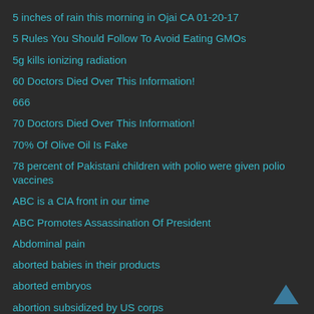5 inches of rain this morning in Ojai CA 01-20-17
5 Rules You Should Follow To Avoid Eating GMOs
5g kills ionizing radiation
60 Doctors Died Over This Information!
666
70 Doctors Died Over This Information!
70% Of Olive Oil Is Fake
78 percent of Pakistani children with polio were given polio vaccines
ABC is a CIA front in our time
ABC Promotes Assassination Of President
Abdominal pain
aborted babies in their products
aborted embryos
abortion subsidized by US corps